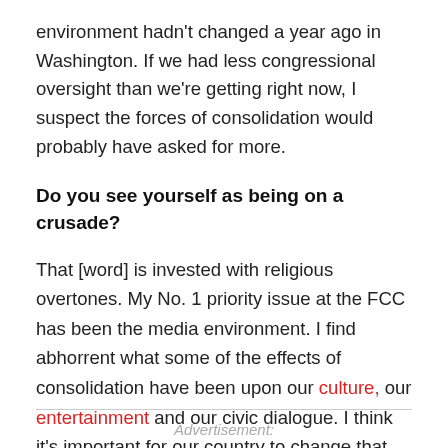environment hadn't changed a year ago in Washington. If we had less congressional oversight than we're getting right now, I suspect the forces of consolidation would probably have asked for more.
Do you see yourself as being on a crusade?
That [word] is invested with religious overtones. My No. 1 priority issue at the FCC has been the media environment. I find abhorrent what some of the effects of consolidation have been upon our culture, our entertainment and our civic dialogue. I think it's important for our country to change that.
Advertisement: